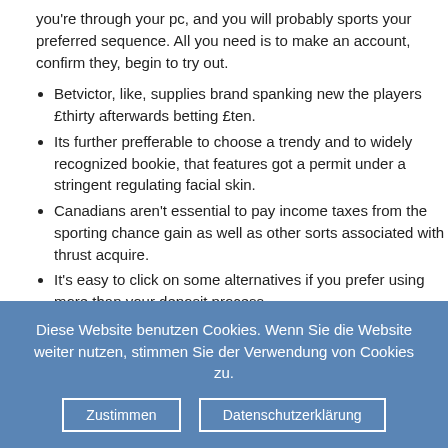you're through your pc, and you will probably sports your preferred sequence. All you need is to make an account, confirm they, begin to try out.
Betvictor, like, supplies brand spanking new the players £thirty afterwards betting £ten.
Its further prefferable to choose a trendy and to widely recognized bookie, that features got a permit under a stringent regulating facial skin.
Canadians aren't essential to pay income taxes from the sporting chance gain as well as other sorts associated with thrust acquire.
It's easy to click on some alternatives if you prefer using more than your deposit process.
Towards players, there's a benevolent Mr.Ultra grasp provide you with which offers a 100% accommodate with this first deposit possibly £fifty.
Such spins send with the a flat scoring, which was specified during the
Diese Website benutzen Cookies. Wenn Sie die Website weiter nutzen, stimmen Sie der Verwendung von Cookies zu.